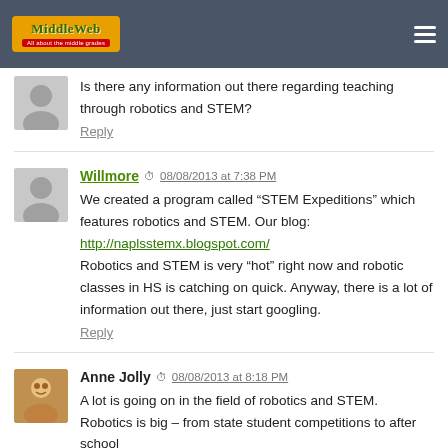MiddleWeb
Is there any information out there regarding teaching through robotics and STEM?
Reply
Willmore  08/08/2013 at 7:38 PM
We created a program called “STEM Expeditions” which features robotics and STEM. Our blog:
http://naplsstemx.blogspot.com/
Robotics and STEM is very “hot” right now and robotic classes in HS is catching on quick. Anyway, there is a lot of information out there, just start googling.
Reply
Anne Jolly  08/08/2013 at 8:18 PM
A lot is going on in the field of robotics and STEM. Robotics is big – from state student competitions to after school